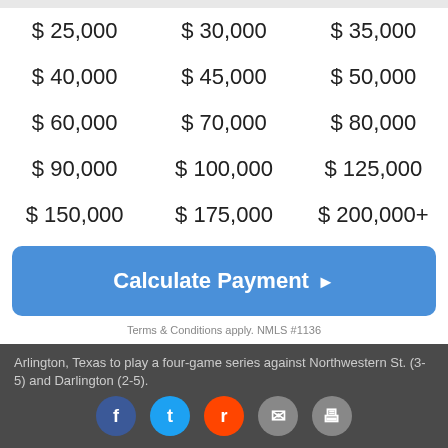| $ 25,000 | $ 30,000 | $ 35,000 |
| $ 40,000 | $ 45,000 | $ 50,000 |
| $ 60,000 | $ 70,000 | $ 80,000 |
| $ 90,000 | $ 100,000 | $ 125,000 |
| $ 150,000 | $ 175,000 | $ 200,000+ |
Calculate Payment ▶
Terms & Conditions apply. NMLS #1136
The Nebraska baseball team (1-6) heads back to Arlington, Texas to play a four-game series against Northwestern St. (3-5) and Darlington (2-5).